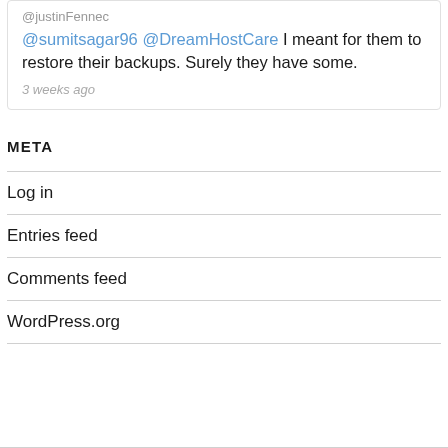@sumitsagar96 @DreamHostCare I meant for them to restore their backups. Surely they have some.
3 weeks ago
META
Log in
Entries feed
Comments feed
WordPress.org